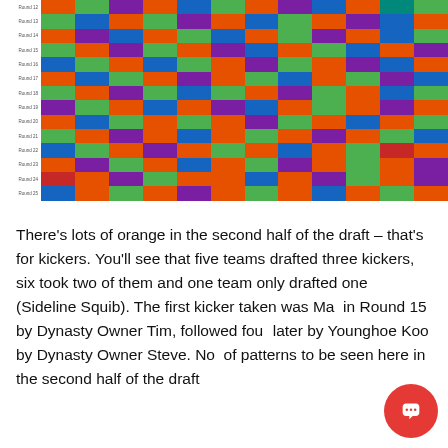[Figure (other): Fantasy football draft board grid showing rounds 12-25 with player headshots in colored cells (orange for kickers, green, blue, purple, red, teal) with 'OWNER' logos and player names across approximately 12 columns and 15 rows.]
There's lots of orange in the second half of the draft – that's for kickers. You'll see that five teams drafted three kickers, six took two of them and one team only drafted one (Sideline Squib). The first kicker taken was Ma... in Round 15 by Dynasty Owner Tim, followed fou... later by Younghoe Koo by Dynasty Owner Steve. No... of patterns to be seen here in the second half of the draft